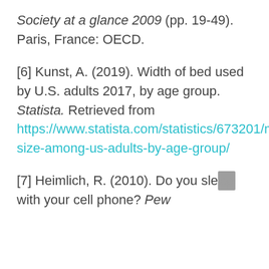Society at a glance 2009 (pp. 19-49). Paris, France: OECD.
[6] Kunst, A. (2019). Width of bed used by U.S. adults 2017, by age group. Statista. Retrieved from https://www.statista.com/statistics/673201/mattress-size-among-us-adults-by-age-group/
[7] Heimlich, R. (2010). Do you sleep with your cell phone? Pew